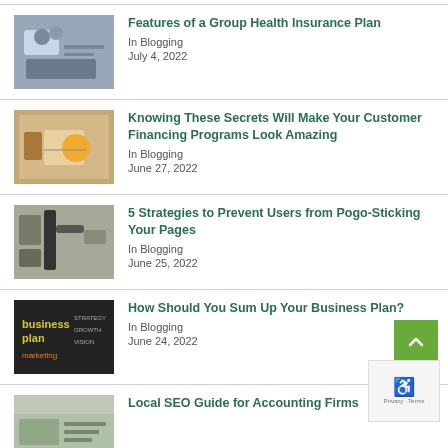Features of a Group Health Insurance Plan
In Blogging
July 4, 2022
Knowing These Secrets Will Make Your Customer Financing Programs Look Amazing
In Blogging
June 27, 2022
5 Strategies to Prevent Users from Pogo-Sticking Your Pages
In Blogging
June 25, 2022
How Should You Sum Up Your Business Plan?
In Blogging
June 24, 2022
Local SEO Guide for Accounting Firms